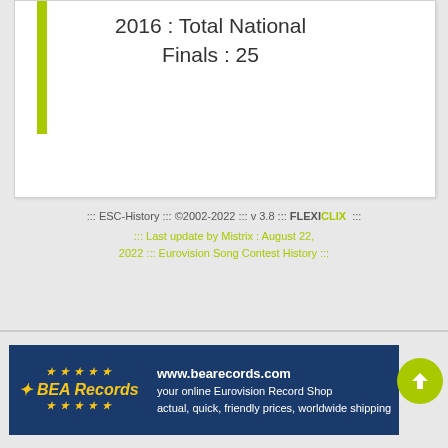[Figure (bar-chart): Partial bar chart showing a green vertical bar, with text '2016 : Total National Finals : 25']
::: ESC-History ::: ©2002-2022 ::: v 3.8 ::: FLEXICLIX ::: ::: Last update by Mistrix : August 22, 2022 ::: Eurovision Song Contest History :::
[Figure (infographic): BEA Records banner advertisement: www.bearecords.com - your online Eurovision Record Shop - actual, quick, friendly prices, worldwide shipping]